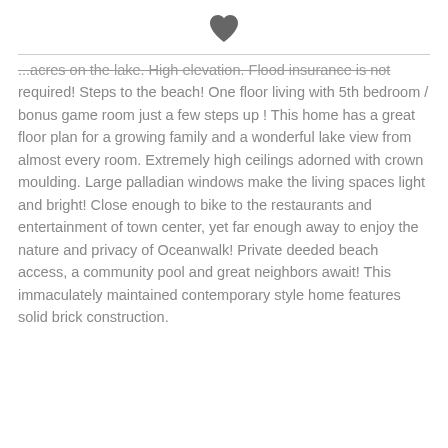[Figure (illustration): A dark gray heart icon centered at the top of the page]
...acres on the lake. High elevation. Flood insurance is not required! Steps to the beach! One floor living with 5th bedroom / bonus game room just a few steps up ! This home has a great floor plan for a growing family and a wonderful lake view from almost every room. Extremely high ceilings adorned with crown moulding. Large palladian windows make the living spaces light and bright! Close enough to bike to the restaurants and entertainment of town center, yet far enough away to enjoy the nature and privacy of Oceanwalk! Private deeded beach access, a community pool and great neighbors await! This immaculately maintained contemporary style home features solid brick construction.